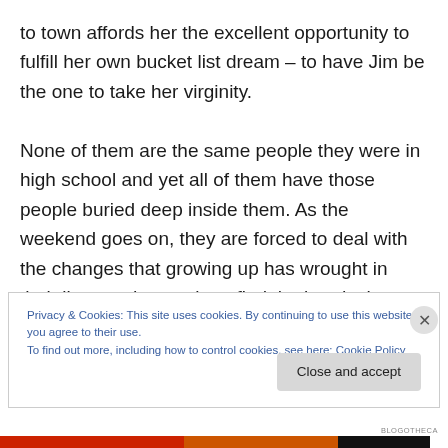to town affords her the excellent opportunity to fulfill her own bucket list dream – to have Jim be the one to take her virginity.

None of them are the same people they were in high school and yet all of them have those people buried deep inside them. As the weekend goes on, they are forced to deal with the changes that growing up has wrought in their lives and struggle to find the bonds that tied them together in the first place. Still, those bond are strong and perhaps nothing can't be solved when you have a dish of American
Privacy & Cookies: This site uses cookies. By continuing to use this website, you agree to their use.
To find out more, including how to control cookies, see here: Cookie Policy